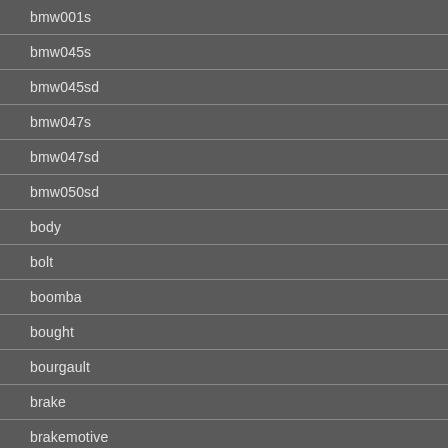bmw001s
bmw045s
bmw045sd
bmw047s
bmw047sd
bmw050sd
body
bolt
boomba
bought
bourgault
brake
brakemotive